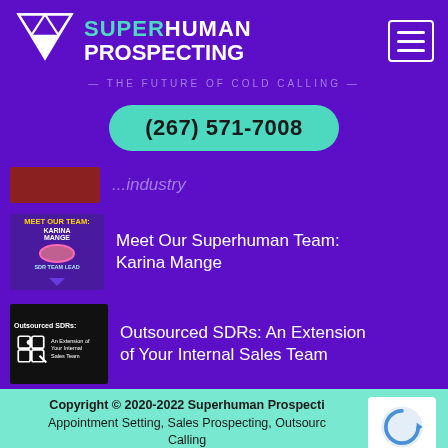[Figure (logo): Superhuman Prospecting logo with white triangle geometric shapes and bold white text reading SUPERHUMAN PROSPECTING, tagline THE FUTURE OF COLD CALLING]
(267) 571-7008
[Figure (photo): Partially visible red/brown thumbnail image at top of list]
[Figure (illustration): Meet Our Team: Karina Mange - SDR Team Lead thumbnail with photo]
Meet Our Superhuman Team: Karina Mange
[Figure (illustration): Outsourced SDRs: An Extension of Your Internal Sales Team thumbnail with puzzle piece graphic]
Outsourced SDRs: An Extension of Your Internal Sales Team
Copyright © 2020-2022 Superhuman Prospecting | Appointment Setting, Sales Prospecting, Outsourced Cold Calling